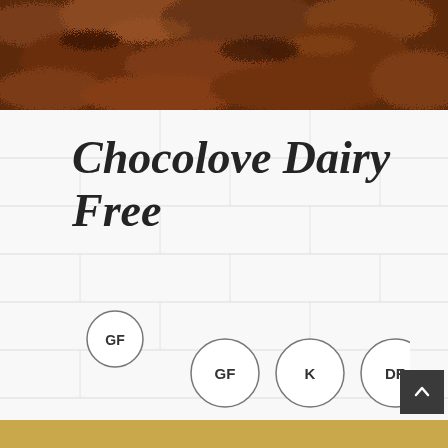[Figure (photo): Close-up photo of dark chocolate ice cream or mousse texture, rich brown color with rough textured surface]
Chocolove Dairy Free
[Figure (infographic): Three dietary badge circles: GF (Gluten Free), K (Kosher), DF (Dairy Free), plus a smaller GF circle above-left]
[Figure (photo): Gold/tan colored bar at the bottom of the page, partial view of a product package]